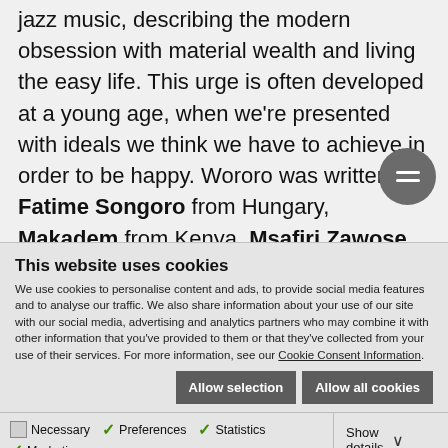jazz music, describing the modern obsession with material wealth and living the easy life. This urge is often developed at a young age, when we're presented with ideals we think we have to achieve in order to be happy. Wororo was written by Fatime Songoro from Hungary, Makadem from Kenya, Msafiri Zawose from Tanzania, Nic Legacy from Canada and Tefo Mahola from South Africa. It features lyrics in
This website uses cookies
We use cookies to personalise content and ads, to provide social media features and to analyse our traffic. We also share information about your use of our site with our social media, advertising and analytics partners who may combine it with other information that you've provided to them or that they've collected from your use of their services. For more information, see our Cookie Consent Information.